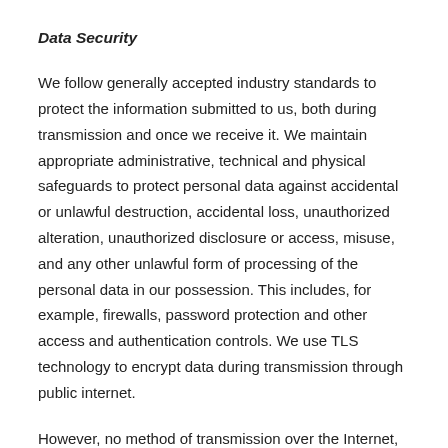Data Security
We follow generally accepted industry standards to protect the information submitted to us, both during transmission and once we receive it. We maintain appropriate administrative, technical and physical safeguards to protect personal data against accidental or unlawful destruction, accidental loss, unauthorized alteration, unauthorized disclosure or access, misuse, and any other unlawful form of processing of the personal data in our possession. This includes, for example, firewalls, password protection and other access and authentication controls. We use TLS technology to encrypt data during transmission through public internet.
However, no method of transmission over the Internet, or method of electronic storage, is 100% secure. We cannot ensure or warrant the security of any information you transmit to us or store on the Site, and you do so at your own risk. We